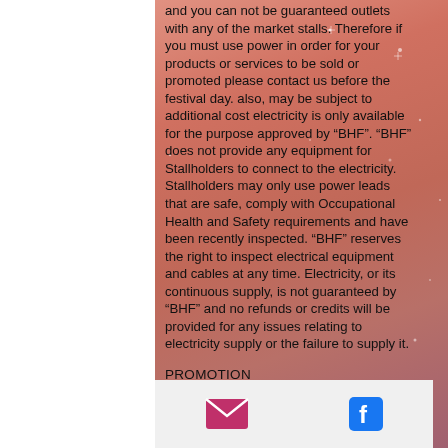and you can not be guaranteed outlets with any of the market stalls. Therefore if you must use power in order for your products or services to be sold or promoted please contact us before the festival day. also, may be subject to additional cost electricity is only available for the purpose approved by “BHF”. “BHF” does not provide any equipment for Stallholders to connect to the electricity. Stallholders may only use power leads that are safe, comply with Occupational Health and Safety requirements and have been recently inspected. “BHF” reserves the right to inspect electrical equipment and cables at any time. Electricity, or its continuous supply, is not guaranteed by “BHF” and no refunds or credits will be provided for any issues relating to electricity supply or the failure to supply it.
PROMOTION
“BHF” reserves the right to advertise or promote the Stallholder in connection with “BHF” and the Stallholder consents to “BHF”